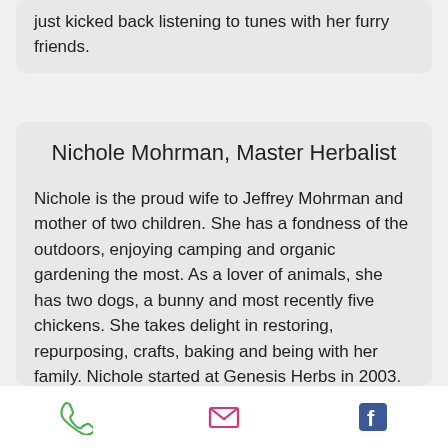just kicked back listening to tunes with her furry friends.
Nichole Mohrman, Master Herbalist
Nichole is the proud wife to Jeffrey Mohrman and mother of two children. She has a fondness of the outdoors, enjoying camping and organic gardening the most. As a lover of animals, she has two dogs, a bunny and most recently five chickens. She takes delight in restoring, repurposing, crafts, baking and being with her family. Nichole started at Genesis Herbs in 2003. Since then she has studied and excels in Kinesiology